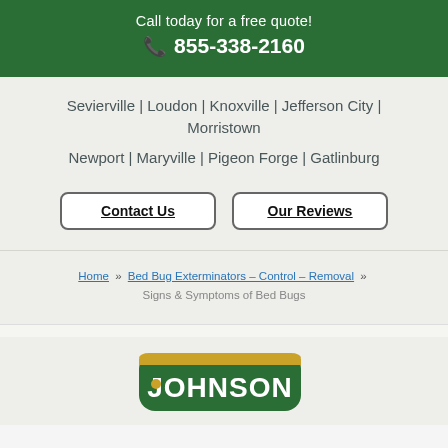Call today for a free quote!
☎ 855-338-2160
Sevierville | Loudon | Knoxville | Jefferson City | Morristown
Newport | Maryville | Pigeon Forge | Gatlinburg
Contact Us   Our Reviews
Home » Bed Bug Exterminators – Control – Removal » Signs & Symptoms of Bed Bugs
[Figure (logo): Johnson logo at bottom of page]